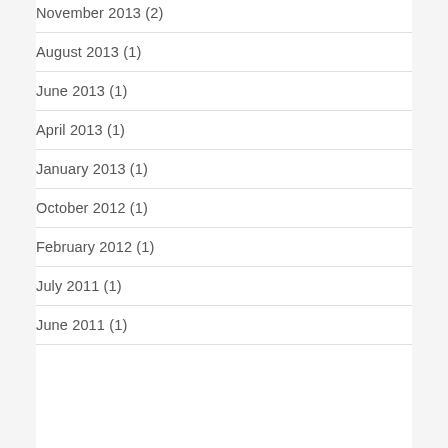November 2013 (2)
August 2013 (1)
June 2013 (1)
April 2013 (1)
January 2013 (1)
October 2012 (1)
February 2012 (1)
July 2011 (1)
June 2011 (1)